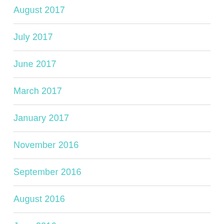August 2017
July 2017
June 2017
March 2017
January 2017
November 2016
September 2016
August 2016
June 2016